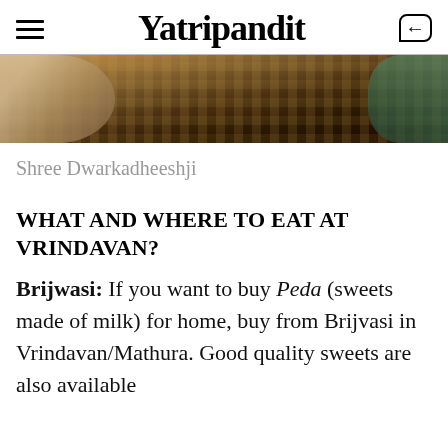Yatripandit
[Figure (photo): Partial photo showing a colourful market/temple scene at Shree Dwarkadheeshji, cropped at top]
Shree Dwarkadheeshji
WHAT AND WHERE TO EAT AT VRINDAVAN?
Brijwasi: If you want to buy Peda (sweets made of milk) for home, buy from Brijvasi in Vrindavan/Mathura. Good quality sweets are also available